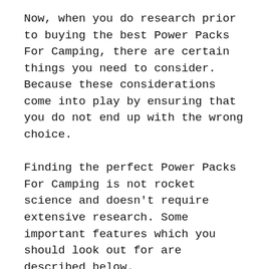Now, when you do research prior to buying the best Power Packs For Camping, there are certain things you need to consider. Because these considerations come into play by ensuring that you do not end up with the wrong choice.
Finding the perfect Power Packs For Camping is not rocket science and doesn't require extensive research. Some important features which you should look out for are described below.
Brands
While there are numerous brands on the market, the truth is not all of them can give you the features you may need.